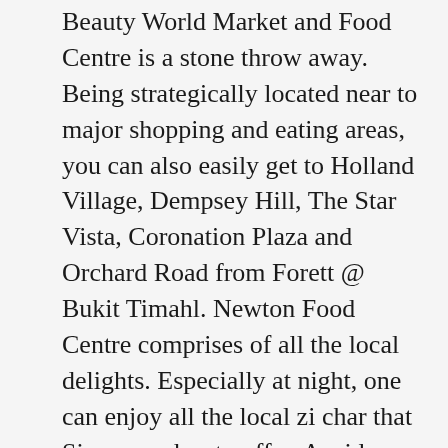Beauty World Market and Food Centre is a stone throw away. Being strategically located near to major shopping and eating areas, you can also easily get to Holland Village, Dempsey Hill, The Star Vista, Coronation Plaza and Orchard Road from Forett @ Bukit Timahl. Newton Food Centre comprises of all the local delights. Especially at night, one can enjoy all the local zi char that Singapore has to offer. A wide variety of seafood can be found there too.
Holland Village and Dempsey Hill are great places to get lunch and even groceries during the day. They also offer terrific nightlife with popular bars and restaurants when the sun goes down. When you are in the mood to travel slightly further, you can get take a 5 minutes' drive to